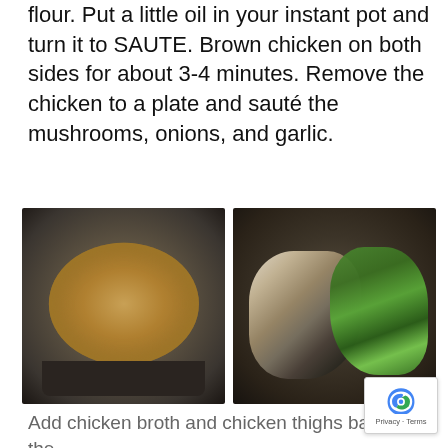flour. Put a little oil in your instant pot and turn it to SAUTE. Brown chicken on both sides for about 3-4 minutes. Remove the chicken to a plate and sauté the mushrooms, onions, and garlic.
[Figure (photo): Left photo: browned chicken thighs cooking in an Instant Pot on SAUTE mode, viewed from above.]
[Figure (photo): Right photo: sliced mushrooms and chopped green onions/scallions added to the Instant Pot, viewed from above.]
Add chicken broth and chicken thighs back to the